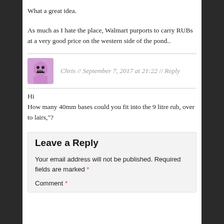What a great idea.
As much as I hate the place, Walmart purports to carry RUBs at a very good price on the western side of the pond..
Chris // September 7, 2017 at 21:22 // Reply
Hi
How many 40mm bases could you fit into the 9 litre rub, over to lairs,"?
Leave a Reply
Your email address will not be published. Required fields are marked *
Comment *